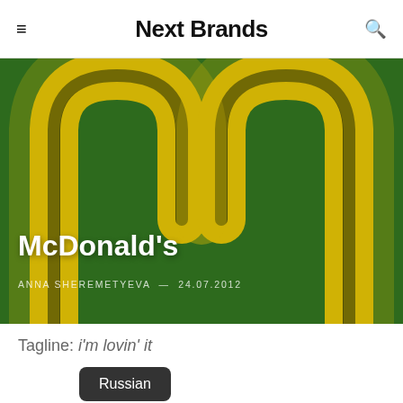Next Brands
[Figure (photo): Close-up of McDonald's Golden Arches logo on green background]
McDonald's
ANNA SHEREMETYEVA — 24.07.2012
Tagline: i'm lovin' it
Russian